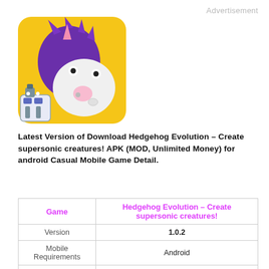Advertisement
[Figure (illustration): App icon for Hedgehog Evolution – Create supersonic creatures! showing a white cartoon unicorn/hedgehog with purple spiky hair and pink horn on a yellow background, with a small robot icon in the bottom left corner.]
Latest Version of Download Hedgehog Evolution – Create supersonic creatures! APK (MOD, Unlimited Money) for android Casual Mobile Game Detail.
| Game | Hedgehog Evolution – Create supersonic creatures! |
| --- | --- |
| Version | 1.0.2 |
| Mobile Requirements | Android |
| Category | Casual |
| Rating |  |